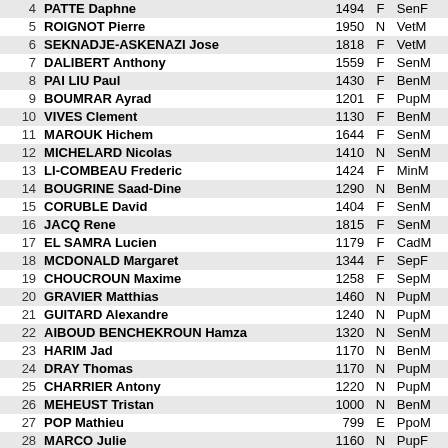| Rank | Name | Score | Flag | Category |
| --- | --- | --- | --- | --- |
| 4 | PATTE Daphne | 1494 | F | SenF |
| 5 | ROIGNOT Pierre | 1950 | N | VetM |
| 6 | SEKNADJE-ASKENAZI Jose | 1818 | F | VetM |
| 7 | DALIBERT Anthony | 1559 | F | SenM |
| 8 | PAI LIU Paul | 1430 | F | BenM |
| 9 | BOUMRAR Ayrad | 1201 | F | PupM |
| 10 | VIVES Clement | 1130 | F | BenM |
| 11 | MAROUK Hichem | 1644 | F | SenM |
| 12 | MICHELARD Nicolas | 1410 | N | SenM |
| 13 | LI-COMBEAU Frederic | 1424 | F | MinM |
| 14 | BOUGRINE Saad-Dine | 1290 | N | BenM |
| 15 | CORUBLE David | 1404 | F | SenM |
| 16 | JACQ Rene | 1815 | F | SenM |
| 17 | EL SAMRA Lucien | 1179 | F | CadM |
| 18 | MCDONALD Margaret | 1344 | F | SepF |
| 19 | CHOUCROUN Maxime | 1258 | F | SepM |
| 20 | GRAVIER Matthias | 1460 | N | PupM |
| 21 | GUITARD Alexandre | 1240 | N | PupM |
| 22 | AIBOUD BENCHEKROUN Hamza | 1320 | N | SenM |
| 23 | HARIM Jad | 1170 | N | BenM |
| 24 | DRAY Thomas | 1170 | N | PupM |
| 25 | CHARRIER Antony | 1220 | N | PupM |
| 26 | MEHEUST Tristan | 1000 | N | BenM |
| 27 | POP Mathieu | 799 | E | PpoM |
| 28 | MARCO Julie | 1160 | N | PupF |